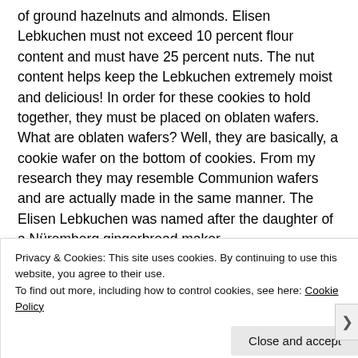of ground hazelnuts and almonds. Elisen Lebkuchen must not exceed 10 percent flour content and must have 25 percent nuts. The nut content helps keep the Lebkuchen extremely moist and delicious! In order for these cookies to hold together, they must be placed on oblaten wafers. What are oblaten wafers? Well, they are basically, a cookie wafer on the bottom of cookies. From my research they may resemble Communion wafers and are actually made in the same manner. The Elisen Lebkuchen was named after the daughter of a Nüremberg gingerbread maker.
[Figure (photo): Partial view of two photos side by side, partially obscured by cookie consent banner]
Privacy & Cookies: This site uses cookies. By continuing to use this website, you agree to their use.
To find out more, including how to control cookies, see here: Cookie Policy
Close and accept